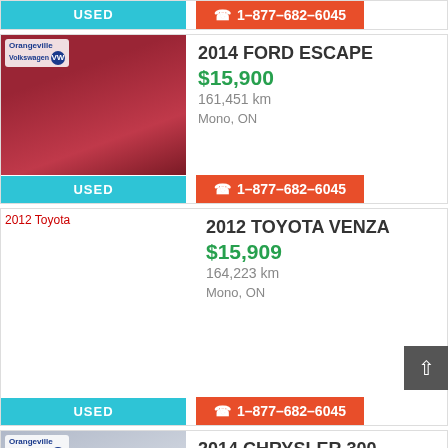[Figure (screenshot): Top sliver showing USED badge and phone button from previous listing]
2014 FORD ESCAPE
$15,900
161,451 km
Mono, ON
[Figure (photo): Red 2014 Ford Escape SUV parked]
USED  ☎ 1-877-682-6045
2012 TOYOTA VENZA
$15,909
164,223 km
Mono, ON
[Figure (photo): Broken image placeholder for 2012 Toyota]
USED  ☎ 1-877-682-6045
2014 CHRYSLER 300
$16,749
151,940 km
Mono, ON
[Figure (photo): Silver 2014 Chrysler 300 at dealership]
USED  ☎ 1-877-682-6045
2017 CHEVROLET TRAX
$16,890